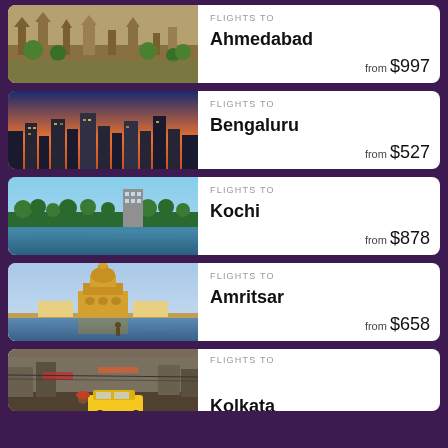[Figure (photo): Ahmedabad ancient stone temple architecture with carved pillars and green trees]
FLIGHTS TO
Ahmedabad
from $997
[Figure (photo): Aerial view of Bengaluru city at dusk with orange and blue hues]
FLIGHTS TO
Bengaluru
from $527
[Figure (photo): Kochi waterfront with lake, trees and tall building under blue sky]
FLIGHTS TO
Kochi
from $878
[Figure (photo): Golden Temple Amritsar with its reflection in the sacred pool]
FLIGHTS TO
Amritsar
from $658
[Figure (photo): Kolkata street scene with yellow taxi cab and busy market]
FLIGHTS TO
Kolkata